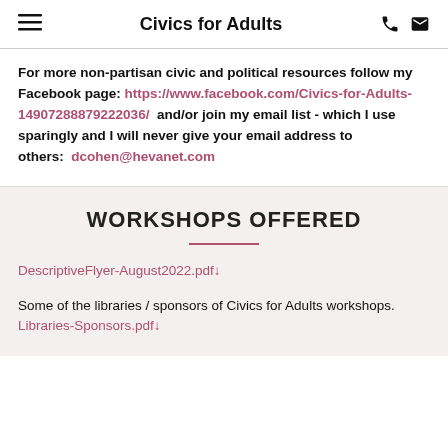Civics for Adults
For more non-partisan civic and political resources follow my Facebook page: https://www.facebook.com/Civics-for-Adults-14907288879222036/  and/or join my email list - which I use sparingly and I will never give your email address to others:  dcohen@hevanet.com
WORKSHOPS OFFERED
DescriptiveFlyer-August2022.pdf↓
Some of the libraries / sponsors of Civics for Adults workshops. Libraries-Sponsors.pdf↓